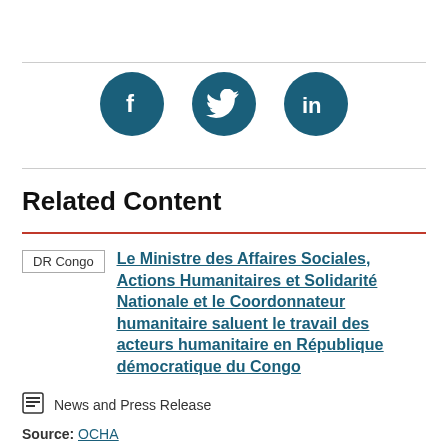[Figure (infographic): Three social media icons (Facebook, Twitter, LinkedIn) as white icons on dark teal circular backgrounds]
Related Content
DR Congo  Le Ministre des Affaires Sociales, Actions Humanitaires et Solidarité Nationale et le Coordonnateur humanitaire saluent le travail des acteurs humanitaire en République démocratique du Congo
News and Press Release
Source: OCHA